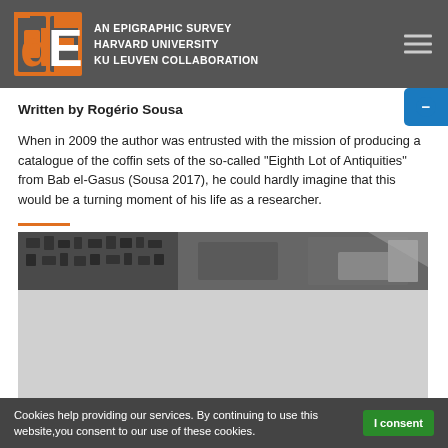AN EPIGRAPHIC SURVEY HARVARD UNIVERSITY KU LEUVEN COLLABORATION
Written by Rogério Sousa
When in 2009 the author was entrusted with the mission of producing a catalogue of the coffin sets of the so-called "Eighth Lot of Antiquities" from Bab el-Gasus (Sousa 2017), he could hardly imagine that this would be a turning moment of his life as a researcher.
[Figure (photo): Black and white photograph of ancient Egyptian hieroglyphic inscriptions on a coffin or temple wall, showing detailed carved hieroglyphs and figures.]
Cookies help providing our services. By continuing to use this website,you consent to our use of these cookies. I consent